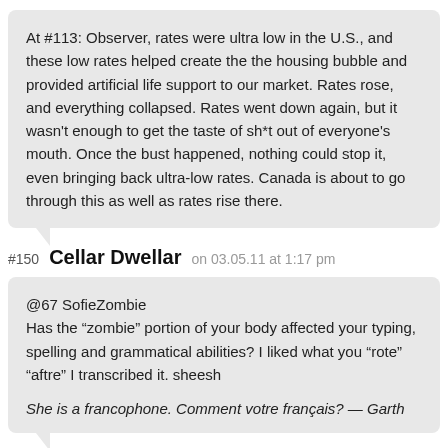At #113: Observer, rates were ultra low in the U.S., and these low rates helped create the the housing bubble and provided artificial life support to our market. Rates rose, and everything collapsed. Rates went down again, but it wasn't enough to get the taste of sh*t out of everyone's mouth. Once the bust happened, nothing could stop it, even bringing back ultra-low rates. Canada is about to go through this as well as rates rise there.
#150 Cellar Dwellar on 03.05.11 at 1:17 pm
@67 SofieZombie
Has the “zombie” portion of your body affected your typing, spelling and grammatical abilities? I liked what you “rote” “aftre” I transcribed it. sheesh

She is a francophone. Comment votre français? — Garth
#151 Kuwaiti on 03.05.11 at 1:20 pm